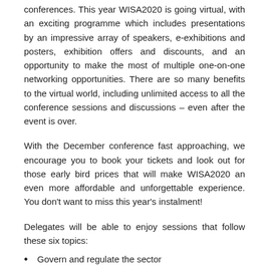conferences. This year WISA2020 is going virtual, with an exciting programme which includes presentations by an impressive array of speakers, e-exhibitions and posters, exhibition offers and discounts, and an opportunity to make the most of multiple one-on-one networking opportunities. There are so many benefits to the virtual world, including unlimited access to all the conference sessions and discussions – even after the event is over.
With the December conference fast approaching, we encourage you to book your tickets and look out for those early bird prices that will make WISA2020 an even more affordable and unforgettable experience. You don't want to miss this year's instalment!
Delegates will be able to enjoy sessions that follow these six topics:
Govern and regulate the sector